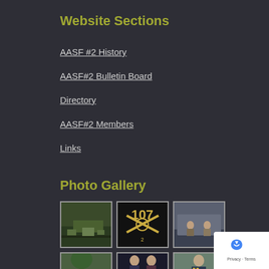Website Sections
AASF #2 History
AASF#2 Bulletin Board
Directory
AASF#2 Members
Links
Photo Gallery
[Figure (photo): Aerial view of a military base or installation near a river]
[Figure (photo): Close-up of military unit insignia with crossed sabers and number 107]
[Figure (photo): Two soldiers sitting on edge of a military aircraft]
[Figure (photo): Tree or outdoor scene]
[Figure (photo): Two people at an event, possibly a formal ceremony]
[Figure (photo): Military officer in dress uniform]